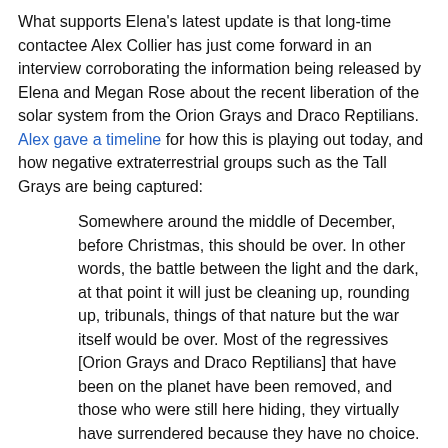What supports Elena's latest update is that long-time contactee Alex Collier has just come forward in an interview corroborating the information being released by Elena and Megan Rose about the recent liberation of the solar system from the Orion Grays and Draco Reptilians. Alex gave a timeline for how this is playing out today, and how negative extraterrestrial groups such as the Tall Grays are being captured:
Somewhere around the middle of December, before Christmas, this should be over. In other words, the battle between the light and the dark, at that point it will just be cleaning up, rounding up, tribunals, things of that nature but the war itself would be over. Most of the regressives [Orion Grays and Draco Reptilians] that have been on the planet have been removed, and those who were still here hiding, they virtually have surrendered because they have no choice.
The information from Alex's Andromedan extraterrestrial